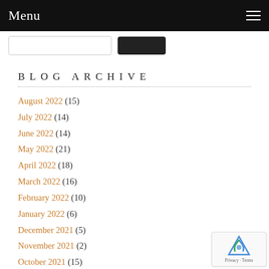Menu
BLOG ARCHIVE
August 2022 (15)
July 2022 (14)
June 2022 (14)
May 2022 (21)
April 2022 (18)
March 2022 (16)
February 2022 (10)
January 2022 (6)
December 2021 (5)
November 2021 (2)
October 2021 (15)
September 2021 (10)
August 2021 (5)